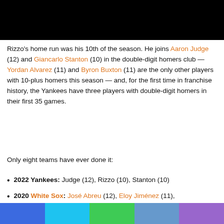[Figure (photo): Black image bar at top of page]
Rizzo's home run was his 10th of the season. He joins Aaron Judge (12) and Giancarlo Stanton (10) in the double-digit homers club — Yordan Alvarez (11) and Byron Buxton (11) are the only other players with 10-plus homers this season — and, for the first time in franchise history, the Yankees have three players with double-digit homers in their first 35 games.
Only eight teams have ever done it:
2022 Yankees: Judge (12), Rizzo (10), Stanton (10)
2020 White Sox: José Abreu (12), Eloy Jiménez (11),
[Figure (illustration): Colored bar at bottom with blue, light blue, green, medium blue, and purple sections]